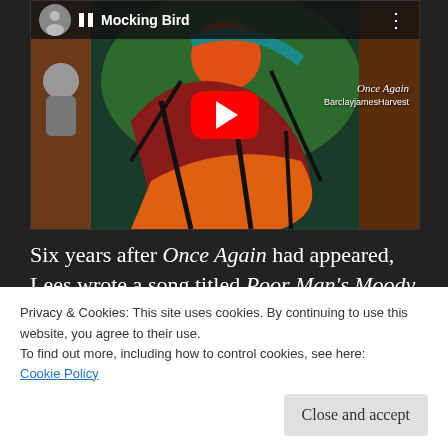[Figure (screenshot): YouTube embedded video player showing 'Mocking Bird' with colorful abstract album art for 'Once Again' by BarclayjamesHarvest. A red YouTube play button is in the center. The header shows the video thumbnail, pause icon, and video title.]
Six years after Once Again had appeared, Lees wrote a song titled Poor Man's Moody Blues. But what could be viewed as an acknowledgment
Privacy & Cookies: This site uses cookies. By continuing to use this website, you agree to their use.
To find out more, including how to control cookies, see here:
Cookie Policy
Close and accept